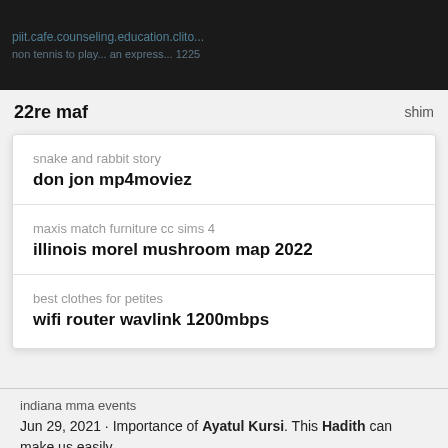[Figure (screenshot): Dark top bar with partial URL text in blue/teal color on black background]
22re maf    shim
snake and rabbit story
don jon mp4moviez
maxis match furniture cc sims 4
illinois morel mushroom map 2022
best clothes for petites
wifi router wavlink 1200mbps
indiana mma events
Jun 29, 2021 · Importance of Ayatul Kursi. This Hadith can make us easily